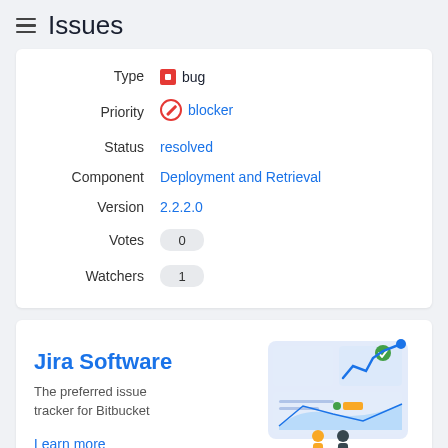Issues
| Field | Value |
| --- | --- |
| Type | bug |
| Priority | blocker |
| Status | resolved |
| Component | Deployment and Retrieval |
| Version | 2.2.2.0 |
| Votes | 0 |
| Watchers | 1 |
[Figure (infographic): Jira Software promotional card showing a dashboard illustration with charts, a line graph, and two figures standing in front of it. Text reads: Jira Software - The preferred issue tracker for Bitbucket - Learn more]
Jira Software
The preferred issue tracker for Bitbucket
Learn more